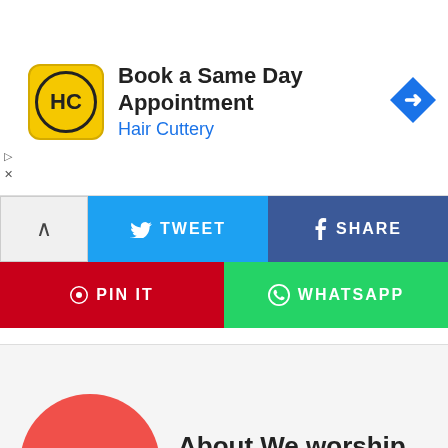[Figure (screenshot): Hair Cuttery advertisement banner with logo, text 'Book a Same Day Appointment', 'Hair Cuttery', and a blue direction arrow icon]
[Figure (infographic): Social sharing buttons row 1: collapse arrow, Tweet (Twitter blue), Share (Facebook dark blue)]
[Figure (infographic): Social sharing buttons row 2: Pin It (Pinterest red), WhatsApp (green)]
[Figure (screenshot): About We worship lyrics section with circular 'we' logo on salmon/red background with cyan text, and title text 'About We worship lyrics']
[Figure (screenshot): Bottom partial image showing a grey rounded square icon with white dots, partially visible]